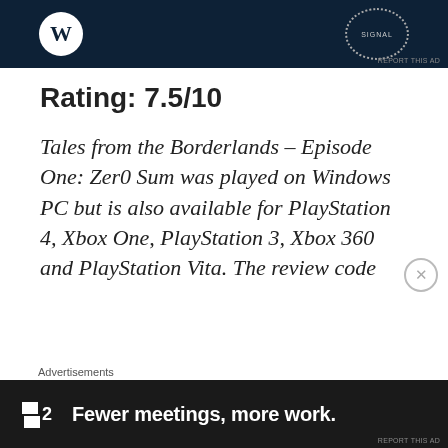[Figure (screenshot): Top advertisement banner with dark navy background, WordPress logo on left, dotted circle badge on right with text SIGNAL]
Rating: 7.5/10
Tales from the Borderlands – Episode One: Zer0 Sum was played on Windows PC but is also available for PlayStation 4, Xbox One, PlayStation 3, Xbox 360 and PlayStation Vita. The review code
Advertisements
[Figure (screenshot): Bottom advertisement banner with dark background showing Fewer meetings, more work. with a logo on the left]